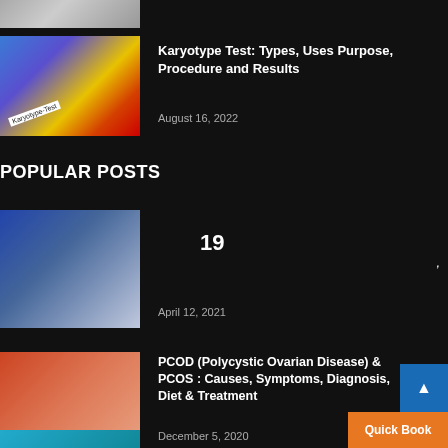[Figure (photo): Partial top image strip - medical/doctor related photo cropped at top]
[Figure (photo): Karyotype test blood sample vials photo]
Karyotype Test: Types, Uses Purpose, Procedure and Results
August 16, 2022
POPULAR POSTS
[Figure (photo): COVID-19 vaccine syringe being held with blue gloves]
19
April 12, 2021
[Figure (photo): PCOD/PCOS medical illustration of female reproductive system]
PCOD (Polycystic Ovarian Disease) & PCOS : Causes, Symptoms, Diagnosis, Diet & Treatment
December 5, 2020
[Figure (photo): Partial image at bottom of page - teal/blue colored medical image]